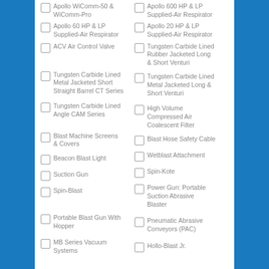Apollo WiComm-50 & WiComm-Pro
Apollo 600 HP & LP Supplied-Air Respirator
Apollo 60 HP & LP Supplied-Air Respirator
Apollo 20 HP & LP Supplied-Air Respirator
ACV Air Control Valve
Tungsten Carbide Lined Rubber Jacketed Long & Short Venturi
Tungsten Carbide Lined Metal Jacketed Short Straight Barrel CT Series
Tungsten Carbide Lined Metal Jacketed Long & Short Venturi
Tungsten Carbide Lined Angle CAM Series
High Volume Compressed Air Coalescent Filter
Blast Machine Screens & Covers
Blast Hose Safety Cable
Beacon Blast Light
Wetblast Attachment
Suction Gun
Spin-Kote
Spin-Blast
Power Gun: Portable Suction Abrasive Blaster
Portable Blast Gun With Hopper
Pneumatic Abrasive Conveyors (PAC)
MB Series Vacuum Systems
Hollo-Blast Jr.